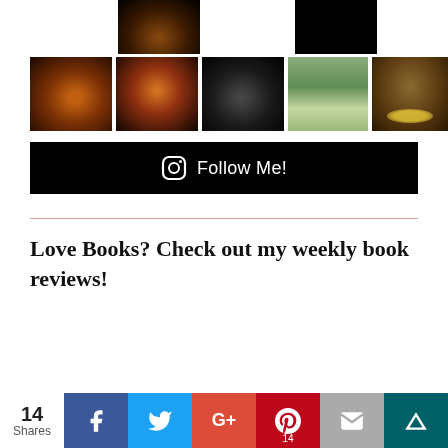[Figure (photo): Grid of wildlife photos — hummingbirds in flight on dark backgrounds and a bird on flowers and a bear face close-up, arranged in two rows]
[Figure (infographic): Black banner with Instagram icon and 'Follow Me!' text]
Love Books? Check out my weekly book reviews!
[Figure (infographic): Social share bar showing 14 Shares, with Facebook, Twitter, Google+, Pinterest (14), Email, and Monarch share buttons]